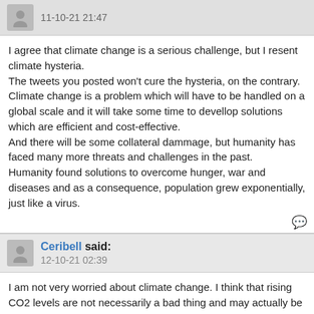11-10-21 21:47
I agree that climate change is a serious challenge, but I resent climate hysteria.
The tweets you posted won't cure the hysteria, on the contrary.
Climate change is a problem which will have to be handled on a global scale and it will take some time to devellop solutions which are efficient and cost-effective.
And there will be some collateral dammage, but humanity has faced many more threats and challenges in the past.
Humanity found solutions to overcome hunger, war and diseases and as a consequence, population grew exponentially, just like a virus.
Ceribell said:
12-10-21 02:39
I am not very worried about climate change. I think that rising CO2 levels are not necessarily a bad thing and may actually be a positive factor for the earths flora.
I would be more concerned if temperatures were steadily falling, as that may cause contraction into another ice...